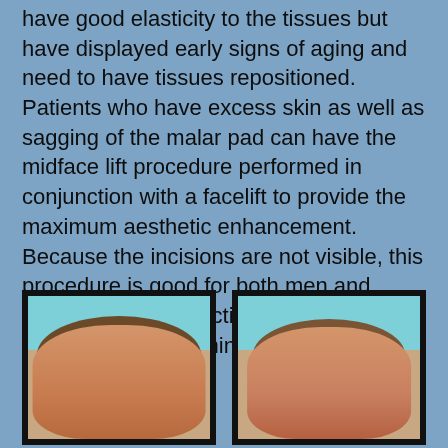have good elasticity to the tissues but have displayed early signs of aging and need to have tissues repositioned. Patients who have excess skin as well as sagging of the malar pad can have the midface lift procedure performed in conjunction with a facelift to provide the maximum aesthetic enhancement. Because the incisions are not visible, this procedure is good for both men and women who have active lifestyles and who desire a very minimal convalescence.
[Figure (photo): Before and after photos of a patient, showing two side-by-side portrait images of a woman with brown hair against a light blue background.]